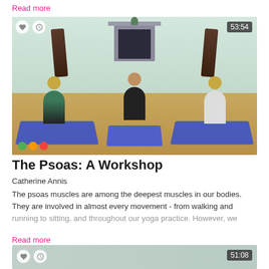Read more
[Figure (photo): Yoga workshop video thumbnail showing three women sitting cross-legged on blue yoga mats in a bright studio room with a fireplace. Timer shows 53:54. Difficulty dots shown at bottom left. Heart and clock icons at top left.]
The Psoas: A Workshop
Catherine Annis
The psoas muscles are among the deepest muscles in our bodies. They are involved in almost every movement - from walking and running to sitting, and throughout our yoga practice. However, we
Read more
[Figure (screenshot): Partial video thumbnail at bottom of page showing 51:08 timer, heart and clock icons on left.]